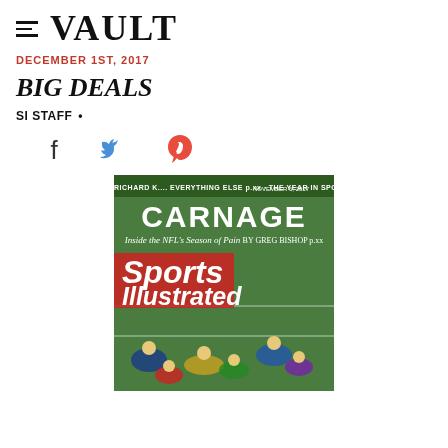≡ VAULT
DECEMBER 1st, 2017
BIG DEALS
SI STAFF •
[Figure (illustration): Social share icons: Facebook, Twitter, Pinterest]
[Figure (photo): Sports Illustrated magazine cover featuring 'CARNAGE: Inside the NFL's Season of Pain' illustration with football players on a green field, with the Sports Illustrated logo overlaid.]